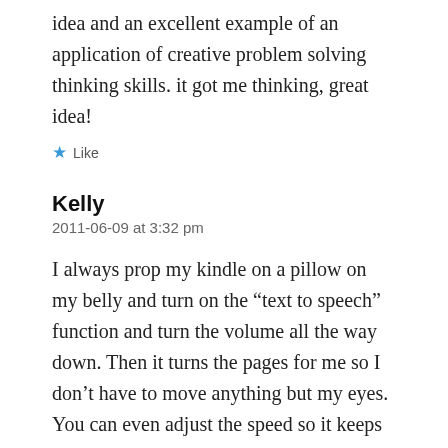idea and an excellent example of an application of creative problem solving thinking skills. it got me thinking, great idea!
★ Like
Kelly
2011-06-09 at 3:32 pm
I always prop my kindle on a pillow on my belly and turn on the “text to speech” function and turn the volume all the way down. Then it turns the pages for me so I don’t have to move anything but my eyes. You can even adjust the speed so it keeps